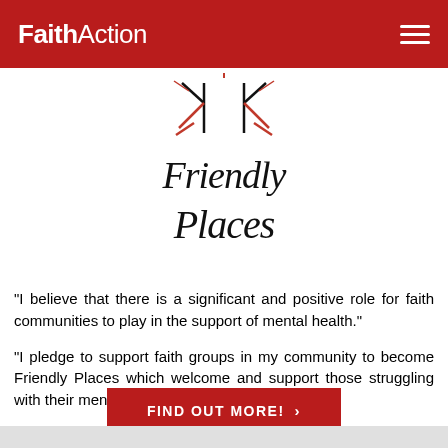FaithAction
[Figure (logo): Friendly Places logo: two figures with arms outstretched under a starburst/sun symbol, with the text 'Friendly Places' in script below]
"I believe that there is a significant and positive role for faith communities to play in the support of mental health."
"I pledge to support faith groups in my community to become Friendly Places which welcome and support those struggling with their mental health."
FIND OUT MORE!